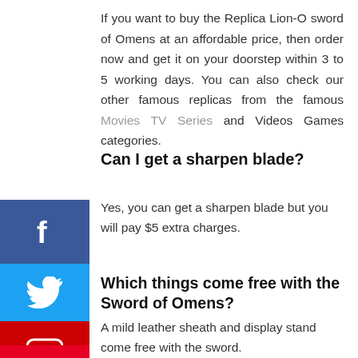If you want to buy the Replica Lion-O sword of Omens at an affordable price, then order now and get it on your doorstep within 3 to 5 working days. You can also check our other famous replicas from the famous Movies TV Series and Videos Games categories.
Can I get a sharpen blade?
[Figure (other): Facebook social media share button (blue background with white 'f' icon)]
Yes, you can get a sharpen blade but you will pay $5 extra charges.
[Figure (other): Twitter social media share button (light blue background with white bird icon)]
[Figure (other): YouTube social media share button (red background with white YouTube play button icon)]
Which things come free with the Sword of Omens?
[Figure (other): Instagram social media share button (gradient purple-red-orange background with white camera icon)]
A mild leather sheath and display stand come free with the sword.
[Figure (other): Pinterest social media share button (red background, partially visible at bottom)]